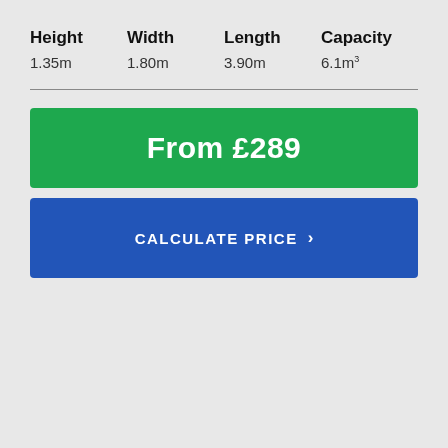| Height | Width | Length | Capacity |
| --- | --- | --- | --- |
| 1.35m | 1.80m | 3.90m | 6.1m³ |
From £289
CALCULATE PRICE ›